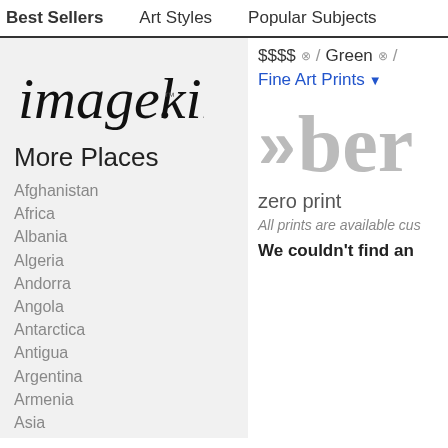Best Sellers   Art Styles   Popular Subjects
[Figure (logo): imagekind logo in handwritten cursive style]
More Places
Afghanistan
Africa
Albania
Algeria
Andorra
Angola
Antarctica
Antigua
Argentina
Armenia
Asia
Australia
Austria
Azerbaijan
Bahamas
Bahrain
$$$$ / Green
Fine Art Prints ▼
»ber
zero print
All prints are available cus
We couldn't find an